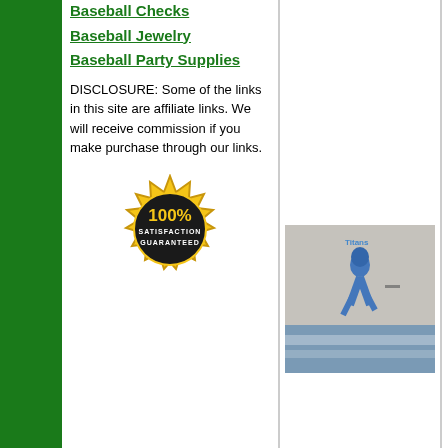Baseball Checks
Baseball Jewelry
Baseball Party Supplies
DISCLOSURE: Some of the links in this site are affiliate links. We will receive commission if you make purchase through our links.
[Figure (illustration): Gold satisfaction guaranteed 100% badge/seal]
Derrick Henry 2020 - Officially Licensed NFL Removable Wall Decal Giant Athlete + 2 Decals (31"W x 50"H) by Fathead | Vinyl. Tennessee Titans | Features Reusable design is safe for walls Sticks to most smooth surfaces No tape or tacks required
[Figure (photo): Product photo of Derrick Henry Fathead wall decal in a bedroom setting]
Mo